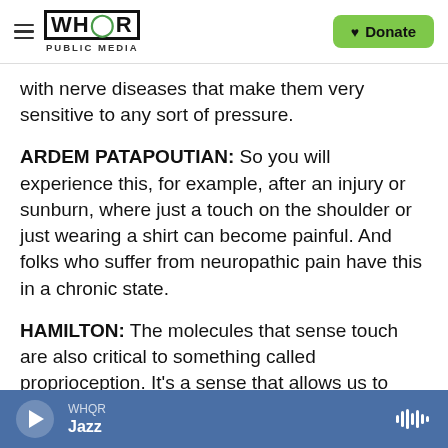WHQR PUBLIC MEDIA | Donate
with nerve diseases that make them very sensitive to any sort of pressure.
ARDEM PATAPOUTIAN: So you will experience this, for example, after an injury or sunburn, where just a touch on the shoulder or just wearing a shirt can become painful. And folks who suffer from neuropathic pain have this in a chronic state.
HAMILTON: The molecules that sense touch are also critical to something called proprioception. It's a sense that allows us to know the position and movement of our limbs and other body parts even
WHQR Jazz